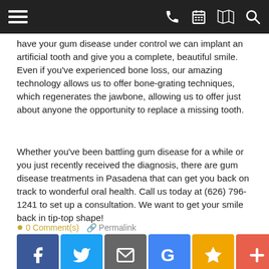Navigation bar with menu, phone, calendar, map, and search icons
have your gum disease under control we can implant an artificial tooth and give you a complete, beautiful smile. Even if you've experienced bone loss, our amazing technology allows us to offer bone-grating techniques, which regenerates the jawbone, allowing us to offer just about anyone the opportunity to replace a missing tooth.
Whether you've been battling gum disease for a while or you just recently received the diagnosis, there are gum disease treatments in Pasadena that can get you back on track to wonderful oral health. Call us today at (626) 796-1241 to set up a consultation. We want to get your smile back in tip-top shape!
0 Comment(s)  Permalink
[Figure (infographic): Social sharing buttons: Facebook (blue), Twitter (light blue), Email (gray), Google (blue), Star/Bookmark (gold), Plus (orange-red)]